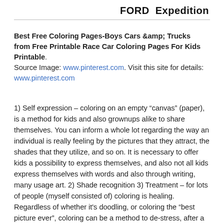FORD  Expedition
Best Free Coloring Pages-Boys Cars &amp; Trucks from Free Printable Race Car Coloring Pages For Kids Printable. Source Image: www.pinterest.com. Visit this site for details: www.pinterest.com
1) Self expression – coloring on an empty “canvas” (paper), is a method for kids and also grownups alike to share themselves. You can inform a whole lot regarding the way an individual is really feeling by the pictures that they attract, the shades that they utilize, and so on. It is necessary to offer kids a possibility to express themselves, and also not all kids express themselves with words and also through writing, many usage art. 2) Shade recognition 3) Treatment – for lots of people (myself consisted of) coloring is healing. Regardless of whether it’s doodling, or coloring the “best picture ever”, coloring can be a method to de-stress, after a busy early morning of school work, unwind, and also calm down, after the tensions of a day at college or work.4) Grip/Control – many